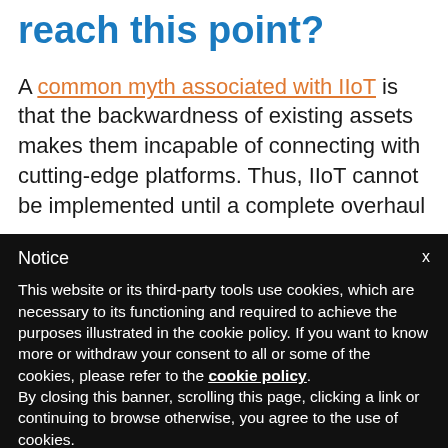reach this point?
A common myth associated with IIoT is that the backwardness of existing assets makes them incapable of connecting with cutting-edge platforms. Thus, IIoT cannot be implemented until a complete overhaul
Notice
This website or its third-party tools use cookies, which are necessary to its functioning and required to achieve the purposes illustrated in the cookie policy. If you want to know more or withdraw your consent to all or some of the cookies, please refer to the cookie policy.
By closing this banner, scrolling this page, clicking a link or continuing to browse otherwise, you agree to the use of cookies.